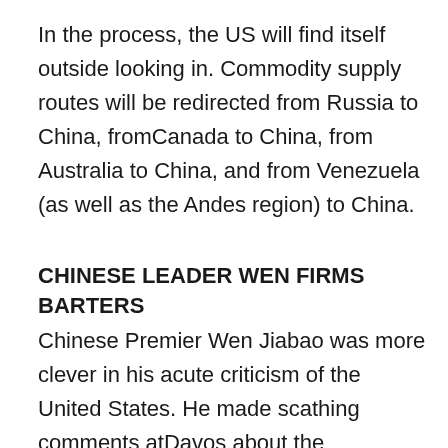In the process, the US will find itself outside looking in. Commodity supply routes will be redirected from Russia to China, fromCanada to China, from Australia to China, and from Venezuela (as well as the Andes region) to China.
CHINESE LEADER WEN FIRMS BARTERS
Chinese Premier Wen Jiabao was more clever in his acute criticism of the United States. He made scathing comments atDavos about the 'inappropriate macroeconomic policies' and the 'unsustainable model of development characterized by prolonged low savings and high consumption' of some unnamed countries. Wen attacked 'blind pursuit of profit' by financial institutions and their 'lack of self-discipline' by them. After